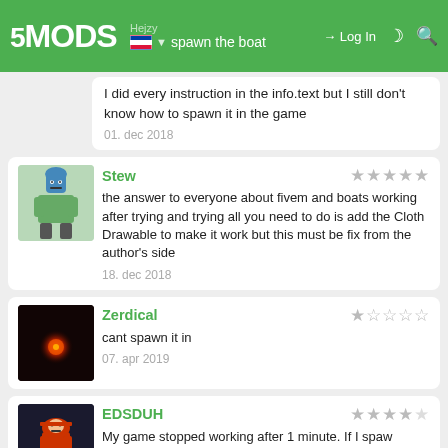5MODS | how to spawn the boat | Log In
I did every instruction in the info.text but I still don't know how to spawn it in the game
01. dec 2018
Stew
the answer to everyone about fivem and boats working after trying and trying all you need to do is add the Cloth Drawable to make it work but this must be fix from the author's side
18. dec 2018
Zerdical
cant spawn it in
07. apr 2019
EDSDUH
My game stopped working after 1 minute. If I spaw inside the ship he and I fell into limbo and the game of memory error being that I have 16GB